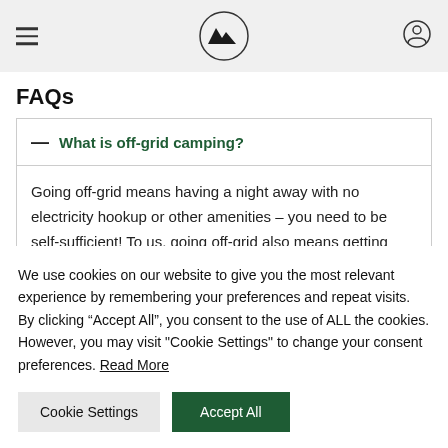[Navigation header with hamburger menu, mountain logo, and user icon]
FAQs
— What is off-grid camping?
Going off-grid means having a night away with no electricity hookup or other amenities – you need to be self-sufficient! To us, going off-grid also means getting away from the crowds and finding a hidden spot where you can enjoy the simplicity of
We use cookies on our website to give you the most relevant experience by remembering your preferences and repeat visits. By clicking "Accept All", you consent to the use of ALL the cookies. However, you may visit "Cookie Settings" to change your consent preferences. Read More
Cookie Settings | Accept All